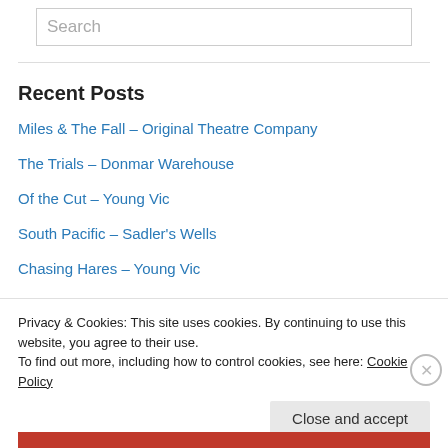[Figure (screenshot): Search input box with placeholder text 'Search']
Recent Posts
Miles & The Fall – Original Theatre Company
The Trials – Donmar Warehouse
Of the Cut – Young Vic
South Pacific – Sadler's Wells
Chasing Hares – Young Vic
Privacy & Cookies: This site uses cookies. By continuing to use this website, you agree to their use.
To find out more, including how to control cookies, see here: Cookie Policy
Close and accept